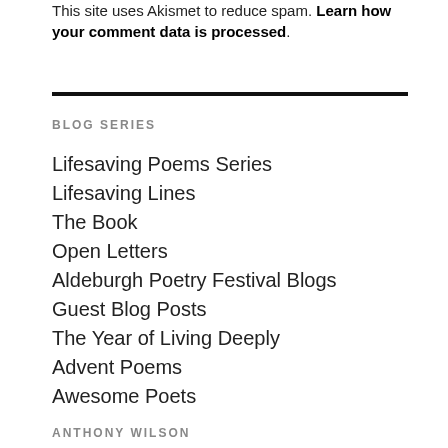This site uses Akismet to reduce spam. Learn how your comment data is processed.
BLOG SERIES
Lifesaving Poems Series
Lifesaving Lines
The Book
Open Letters
Aldeburgh Poetry Festival Blogs
Guest Blog Posts
The Year of Living Deeply
Advent Poems
Awesome Poets
ANTHONY WILSON